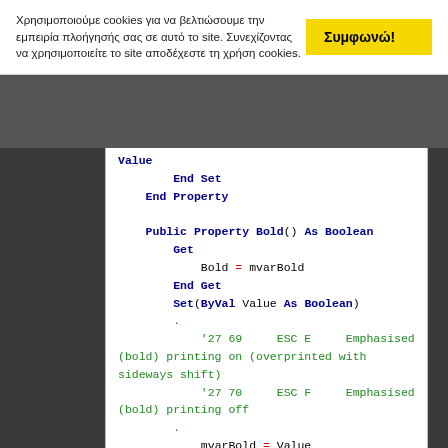Χρησιμοποιούμε cookies για να βελτιώσουμε την εμπειρία πλοήγησής σας σε αυτό το site. Συνεχίζοντας να χρησιμοποιείτε το site αποδέχεστε τη χρήση cookies.
Συμφωνώ!
Value
    End Set
End Property

Public Property Bold() As Boolean
    Get
        Bold = mvarBold
    End Get
    Set(ByVal Value As Boolean)
    .
        '27 69    ESC E    Emphasised (bold) printing on (overprinted with sideways shift)
        '27 70    ESC F    Emphasised (bold) printing off
    .
        mvarBold = Value
        If Value = True Then
            Call